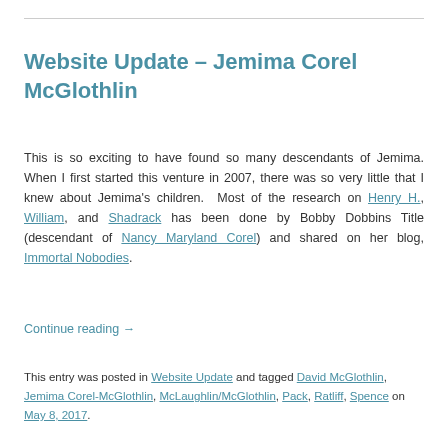Website Update – Jemima Corel McGlothlin
This is so exciting to have found so many descendants of Jemima. When I first started this venture in 2007, there was so very little that I knew about Jemima's children. Most of the research on Henry H., William, and Shadrack has been done by Bobby Dobbins Title (descendant of Nancy Maryland Corel) and shared on her blog, Immortal Nobodies.
Continue reading →
This entry was posted in Website Update and tagged David McGlothlin, Jemima Corel-McGlothlin, McLaughlin/McGlothlin, Pack, Ratliff, Spence on May 8, 2017.